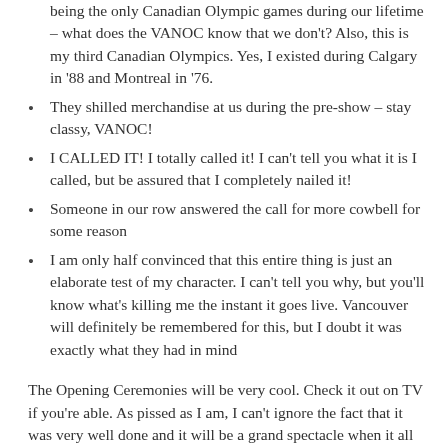being the only Canadian Olympic games during our lifetime – what does the VANOC know that we don't? Also, this is my third Canadian Olympics. Yes, I existed during Calgary in '88 and Montreal in '76.
They shilled merchandise at us during the pre-show – stay classy, VANOC!
I CALLED IT! I totally called it! I can't tell you what it is I called, but be assured that I completely nailed it!
Someone in our row answered the call for more cowbell for some reason
I am only half convinced that this entire thing is just an elaborate test of my character. I can't tell you why, but you'll know what's killing me the instant it goes live. Vancouver will definitely be remembered for this, but I doubt it was exactly what they had in mind
The Opening Ceremonies will be very cool. Check it out on TV if you're able. As pissed as I am, I can't ignore the fact that it was very well done and it will be a grand spectacle when it all unfolds.